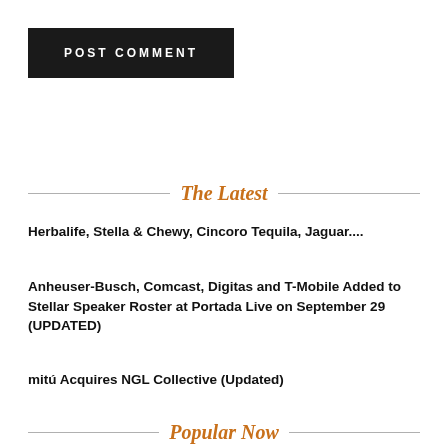POST COMMENT
The Latest
Herbalife, Stella & Chewy, Cincoro Tequila, Jaguar....
Anheuser-Busch, Comcast, Digitas and T-Mobile Added to Stellar Speaker Roster at Portada Live on September 29 (UPDATED)
mitú Acquires NGL Collective (Updated)
Popular Now